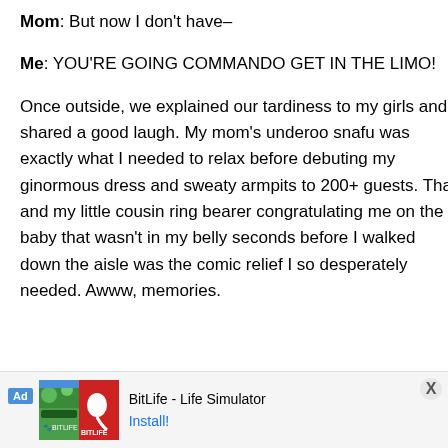Mom: But now I don't have–
Me: YOU'RE GOING COMMANDO GET IN THE LIMO!
Once outside, we explained our tardiness to my girls and shared a good laugh. My mom's underoo snafu was exactly what I needed to relax before debuting my ginormous dress and sweaty armpits to 200+ guests. That and my little cousin ring bearer congratulating me on the baby that wasn't in my belly seconds before I walked down the aisle was the comic relief I so desperately needed. Awww, memories.
[Figure (screenshot): BitLife - Life Simulator advertisement banner at bottom of page with green and red game imagery and Install button]